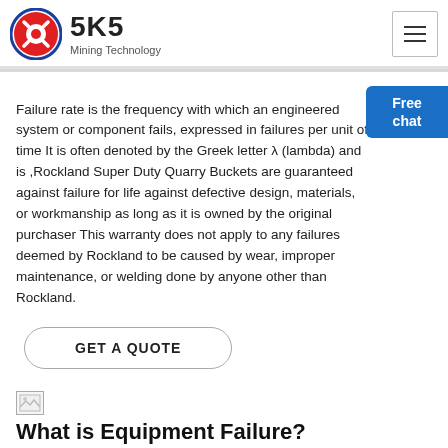[Figure (logo): SKS Mining Technology logo with red and white circular emblem and company name]
Failure rate is the frequency with which an engineered system or component fails, expressed in failures per unit of time It is often denoted by the Greek letter λ (lambda) and is ,Rockland Super Duty Quarry Buckets are guaranteed against failure for life against defective design, materials, or workmanship as long as it is owned by the original purchaser This warranty does not apply to any failures deemed by Rockland to be caused by wear, improper maintenance, or welding done by anyone other than Rockland.
GET A QUOTE
[Figure (photo): Broken/missing image placeholder]
What is Equipment Failure?